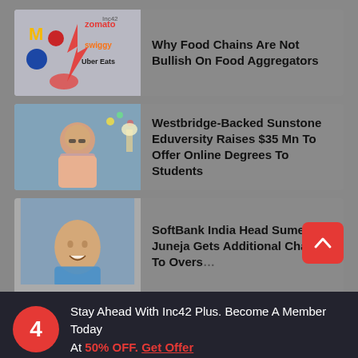[Figure (photo): Food aggregator brands (McDonald's, Zomato, Swiggy, Uber Eats, Domino's, Pizza Hut) with VS lightning bolt graphic]
Why Food Chains Are Not Bullish On Food Aggregators
[Figure (photo): Man with glasses in salmon shirt seated in a living room]
Westbridge-Backed Sunstone Eduversity Raises $35 Mn To Offer Online Degrees To Students
[Figure (photo): Smiling man in blue shirt, partial view]
SoftBank India Head Sumer Juneja Gets Additional Charge, To Overs...
Stay Ahead With Inc42 Plus. Become A Member Today At 50% OFF. Get Offer